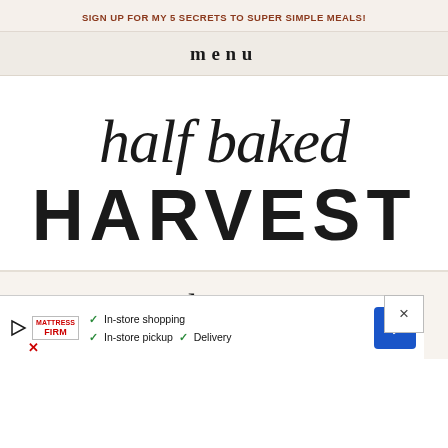SIGN UP FOR MY 5 SECRETS TO SUPER SIMPLE MEALS!
menu
[Figure (logo): Half Baked Harvest logo — cursive 'half baked' in script above large bold sans-serif 'HARVEST']
5 minute molten cho...
[Figure (infographic): Advertisement overlay for Mattress Firm showing: In-store shopping, In-store pickup, Delivery with checkmarks and blue arrow button. Close (×) button in top right.]